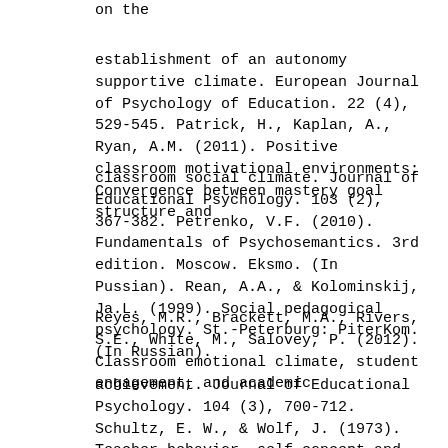on the
establishment of an autonomy supportive climate. European Journal of Psychology of Education. 22 (4), 529-545. Patrick, H., Kaplan, A., Ryan, A.M. (2011). Positive classroom motivational environments: Convergence between mastery goal structure and
classroom social climate. Journal of Educational Psychology. 103 (2), 367-382. Petrenko, V.F. (2010). Fundamentals of Psychosemantics. 3rd edition. Moscow. Eksmo. (In Pussian). Rean, A.A., & Kolominskij, Ja.L. (1999). Social pedagogical psychology. St.-Peterburg: PiterKom. (In Russian).
Reyes, M.R., Brackett, M.A., Rivers, S.E., White, M., Salovey, P. (2012). Classroom emotional climate, student engagement, and academic
achievement. Journal of Educational Psychology. 104 (3), 700-712. Schultz, E. W., & Wolf, J. (1973). Teacher behavior, self-concept and the helping process. Psychology in the Schools, 10(1). 75-78. Sudkamp, A., Kaiser, J., Moller, J. (2012). Accuracy of teachers'